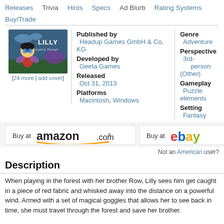Releases | Trivia | Hints | Specs | Ad Blurb | Rating Systems | Buy/Trade
[Figure (illustration): Game cover for Lilly Looking Through showing an animated girl character with goggles against a forest background]
[24 more | add cover]
| Published by | Headup Games GmbH & Co. KG |
| Developed by | Geeta Games |
| Released | Oct 31, 2013 |
| Platforms | Macintosh, Windows |
| Genre | Adventure |
| Perspective | 3rd-person (Other) |
| Gameplay | Puzzle elements |
| Setting | Fantasy |
[Figure (logo): Buy at amazon.com logo with arrow]
[Figure (logo): Buy at eBay logo]
Not an American user?
Description
When playing in the forest with her brother Row, Lilly sees him get caught in a piece of red fabric and whisked away into the distance on a powerful wind. Armed with a set of magical goggles that allows her to see back in time, she must travel through the forest and save her brother.